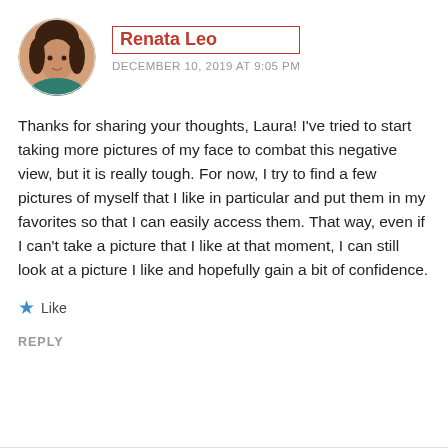[Figure (photo): Circular avatar photo of Renata Leo, a woman with dark hair]
Renata Leo
DECEMBER 10, 2019 AT 9:05 PM
Thanks for sharing your thoughts, Laura! I've tried to start taking more pictures of my face to combat this negative view, but it is really tough. For now, I try to find a few pictures of myself that I like in particular and put them in my favorites so that I can easily access them. That way, even if I can't take a picture that I like at that moment, I can still look at a picture I like and hopefully gain a bit of confidence.
Like
REPLY